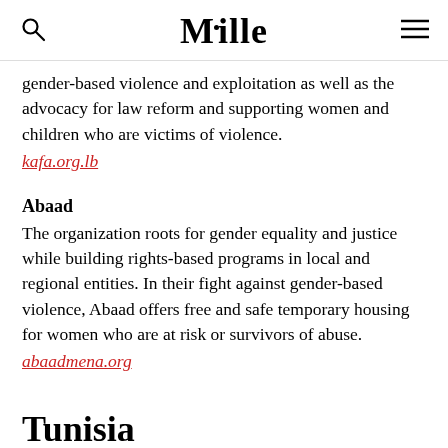Mille
gender-based violence and exploitation as well as the advocacy for law reform and supporting women and children who are victims of violence.
kafa.org.lb
Abaad
The organization roots for gender equality and justice while building rights-based programs in local and regional entities. In their fight against gender-based violence, Abaad offers free and safe temporary housing for women who are at risk or survivors of abuse.
abaadmena.org
Tunisia
Association Tunisienne des Femmes Démocrates